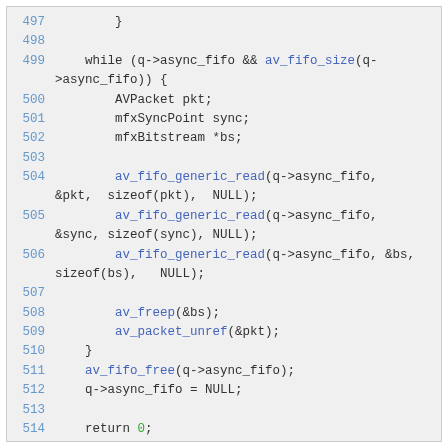[Figure (screenshot): Source code snippet showing C code lines 497-515 with syntax highlighting. Line numbers in blue on the left, function calls in blue, keywords and identifiers in dark gray, numeric literal 0 in green.]